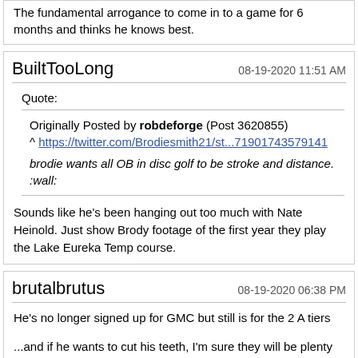The fundamental arrogance to come in to a game for 6 months and thinks he knows best.
BuiltTooLong
08-19-2020 11:51 AM
Quote:
Originally Posted by robdeforge (Post 3620855)
^ https://twitter.com/Brodiesmith21/st...71901743579141
brodie wants all OB in disc golf to be stroke and distance. :wall:
Sounds like he's been hanging out too much with Nate Heinold. Just show Brody footage of the first year they play the Lake Eureka Temp course.
brutalbrutus
08-19-2020 06:38 PM
He's no longer signed up for GMC but still is for the 2 A tiers
...and if he wants to cut his teeth, I'm sure they will be plenty of B/C tiers around Texas over the next 6 months